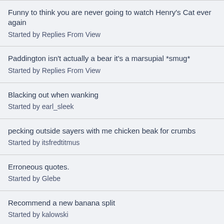Funny to think you are never going to watch Henry's Cat ever again
Started by Replies From View
Paddington isn't actually a bear it's a marsupial *smug*
Started by Replies From View
Blacking out when wanking
Started by earl_sleek
pecking outside sayers with me chicken beak for crumbs
Started by itsfredtitmus
Erroneous quotes.
Started by Glebe
Recommend a new banana split
Started by kalowski
What if... game boy edition
Started by RetroRobot
Found out what Rayman is supposed to be
Started by RetroRobot